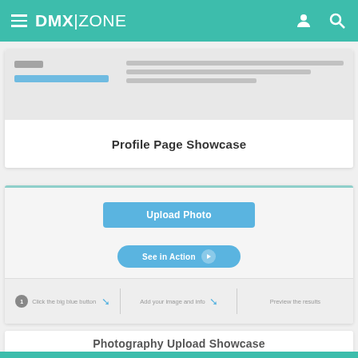DMX|ZONE
[Figure (screenshot): Profile Page Showcase card with a blurred preview of a profile page interface]
Profile Page Showcase
[Figure (screenshot): Photography Upload Showcase card with Upload Photo button, See in Action button, and step indicators: 1 Click the big blue button, Add your image and info, Preview the results]
Photography Upload Showcase